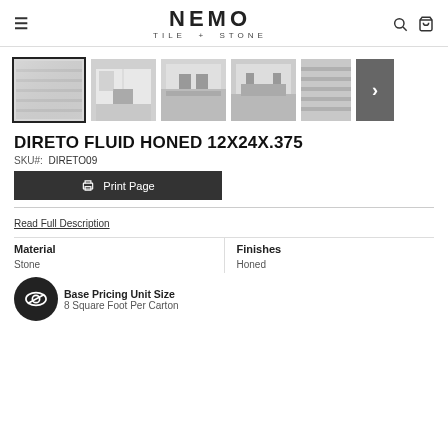NEMO TILE + STONE
[Figure (screenshot): Product image gallery showing 5 thumbnail images of tile installation scenes plus a next arrow button. First thumbnail is selected with a black border.]
DIRETO FLUID HONED 12X24X.375
SKU#: DIRETO09
Print Page
Read Full Description
| Material | Finishes |
| --- | --- |
| Stone | Honed |
Base Pricing Unit Size
8 Square Foot Per Carton